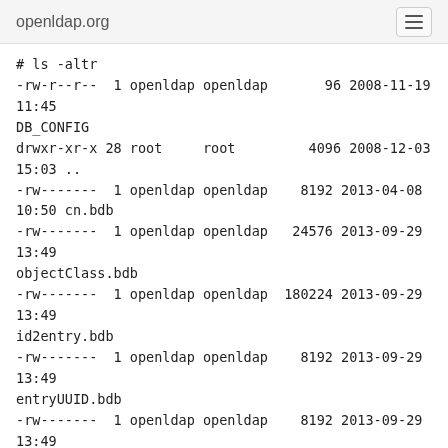openldap.org
# ls -altr
-rw-r--r--  1 openldap openldap       96 2008-11-19 11:45 DB_CONFIG
drwxr-xr-x 28 root     root         4096 2008-12-03 15:03 ..
-rw-------  1 openldap openldap    8192 2013-04-08 10:50 cn.bdb
-rw-------  1 openldap openldap   24576 2013-09-29 13:49 objectClass.bdb
-rw-------  1 openldap openldap  180224 2013-09-29 13:49 id2entry.bdb
-rw-------  1 openldap openldap    8192 2013-09-29 13:49 entryUUID.bdb
-rw-------  1 openldap openldap    8192 2013-09-29 13:49 entryCSN.bdb
-rw-------  1 openldap openldap   36864 2013-09-29 13:49 dn2id.bdb
-rw-------  1 openldap openldap 1168654 2013-10-17 09:40 log.0000000001
-rw-------  1 openldap openldap   24576 2013-11-07 05:45 __db.005
-rw-------  1 openldap openldap   98304 2013-11-07 05:45 __db.003